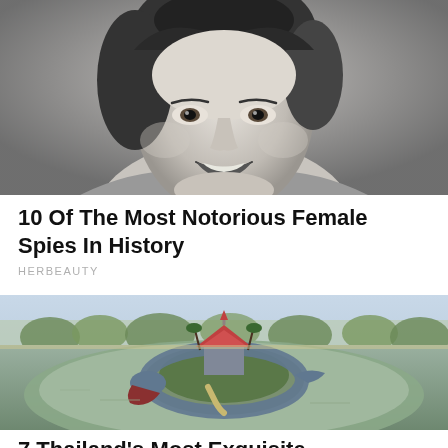[Figure (photo): Black and white close-up portrait photo of a smiling young woman, vintage style]
10 Of The Most Notorious Female Spies In History
HERBEAUTY
[Figure (photo): Aerial color photo of a Thai architectural landmark on a small island in a lake, featuring a large serpent/naga sculpture surrounding a temple with red roof, with gardens and trees in background]
7 Thailand's Most Exquisite Architectural